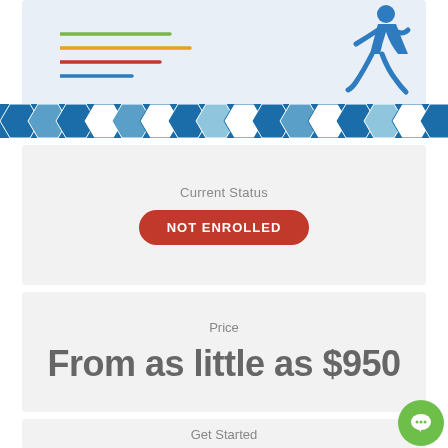[Figure (illustration): Hero banner with a blue geometric background, hexagon pattern bar, speed lines (green, orange, red, blue), and a blue running figure silhouette.]
Current Status
NOT ENROLLED
Price
From as little as $950
Get Started